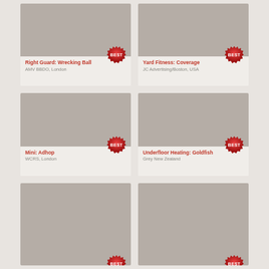[Figure (photo): Thumbnail image placeholder - grey rectangle with BEST badge]
Right Guard: Wrecking Ball
AMV BBDO, London
[Figure (photo): Thumbnail image placeholder - grey rectangle with BEST badge]
Yard Fitness: Coverage
JC Advertising/Boston, USA
[Figure (photo): Thumbnail image placeholder - grey rectangle with BEST badge]
Mini: Adhop
WCRS, London
[Figure (photo): Thumbnail image placeholder - grey rectangle with BEST badge]
Underfloor Heating: Goldfish
Grey New Zealand
[Figure (photo): Thumbnail image placeholder - grey rectangle with BEST badge]
[Figure (photo): Thumbnail image placeholder - grey rectangle with BEST badge]